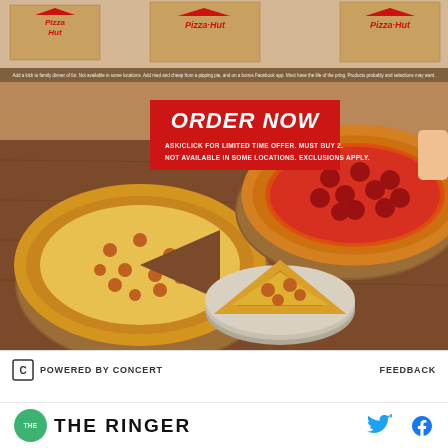[Figure (photo): Pizza Hut advertisement showing two large pizzas on wooden boards on a dark wood table, one cheese pizza on the left and one pepperoni pizza on the right, with a pizza slice on a plate in the center foreground. Pizza Hut branded boxes visible in background. Red 'ORDER NOW' banner overlay with fine print text.]
POWERED BY CONCERT
FEEDBACK
Michael blames the beard for his custom, and his
THE RINGER